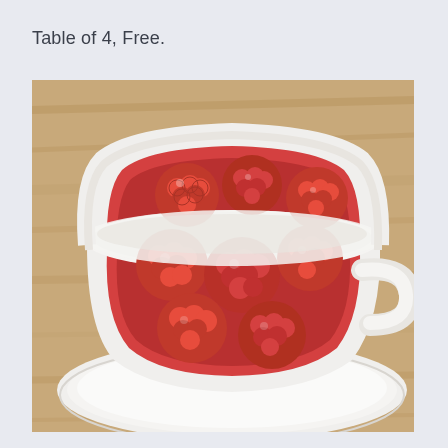Table of 4, Free.
[Figure (photo): A white ceramic cup and saucer filled with fresh red raspberries, sitting on a wooden table surface. The photo is taken from above at a slight angle, showing the raspberries piled inside the cup. The background shows a light wood grain texture.]